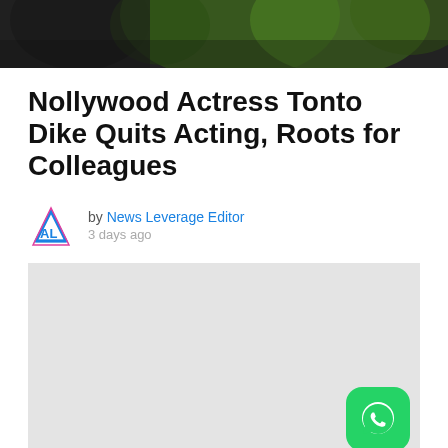[Figure (photo): Top portion of a photo showing a woman wearing a black patterned outfit with green tropical leaf print background]
Nollywood Actress Tonto Dike Quits Acting, Roots for Colleagues
by News Leverage Editor
3 days ago
[Figure (other): Gray advertisement/placeholder block with WhatsApp button in bottom right corner]